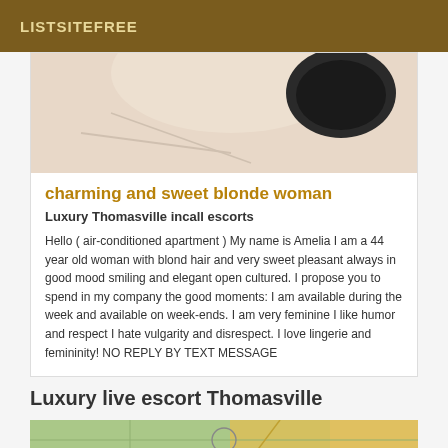LISTSITEFREE
[Figure (photo): Cropped photo showing part of a person and dark object, background is light/cream colored]
charming and sweet blonde woman
Luxury Thomasville incall escorts
Hello ( air-conditioned apartment ) My name is Amelia I am a 44 year old woman with blond hair and very sweet pleasant always in good mood smiling and elegant open cultured. I propose you to spend in my company the good moments: I am available during the week and available on week-ends. I am very feminine I like humor and respect I hate vulgarity and disrespect. I love lingerie and femininity! NO REPLY BY TEXT MESSAGE
Luxury live escort Thomasville
[Figure (photo): Partial bottom image showing map or decorative background in green and yellow tones]